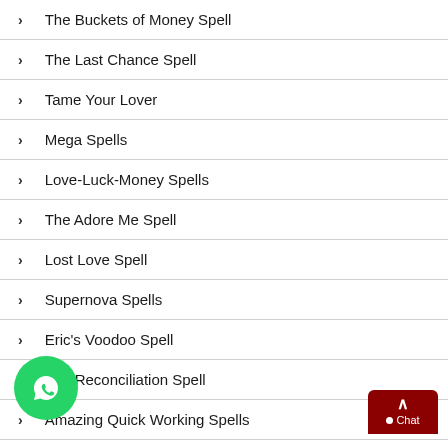The Buckets of Money Spell
The Last Chance Spell
Tame Your Lover
Mega Spells
Love-Luck-Money Spells
The Adore Me Spell
Lost Love Spell
Supernova Spells
Eric's Voodoo Spell
The Reconciliation Spell
Amazing Quick Working Spells
Coyote Spells